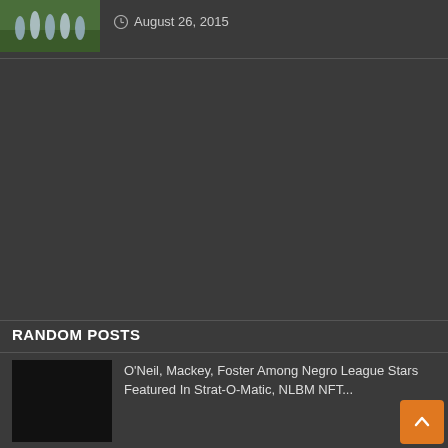[Figure (photo): Sports photo showing soccer/football players in blue and white uniforms on a green field]
August 26, 2015
RANDOM POSTS
[Figure (photo): Black thumbnail image for a post]
O'Neil, Mackey, Foster Among Negro League Stars Featured In Strat-O-Matic, NLBM NFT...